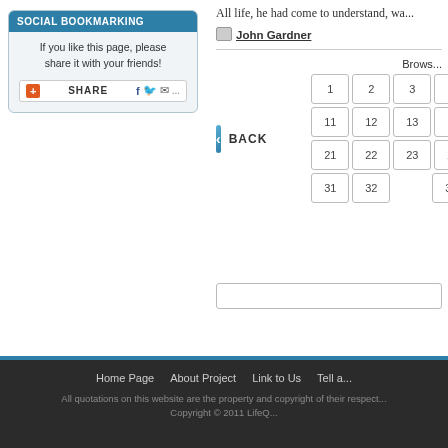SOCIAL BOOKMARKING
If you like this page, please share it with your friends!
[Figure (screenshot): Share bar with plus icon, SHARE label, Facebook, Twitter, and email icons]
All life, he had come to understand, wa...
John Gardner
Brows...
BACK
| 1 | 2 | 3 | 4 | 5 |
| 11 | 12 | 13 | 14 | 15 |
| 21 | 22 | 23 | 24 | 25 |
| 31 | 32 |  | 34 |  |
Home Page   About Project   Link to Us   Tell a...
All quotations on this website are the property and copyright of their respect...
Copyright © 2011 LifeQ...